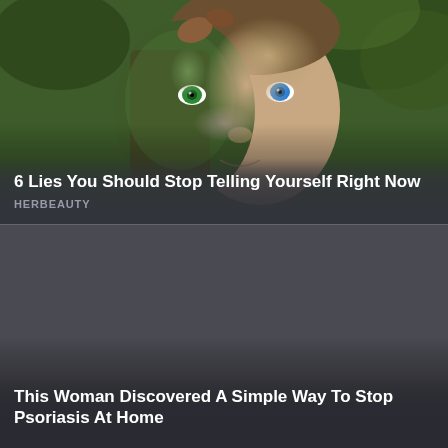[Figure (photo): A split-face portrait: left half shows a face covered in moss, bark and nature elements with a green eye; right half shows a normal human face with a blue eye, set against green leafy background]
6 Lies You Should Stop Telling Yourself Right Now
HERBEAUTY
[Figure (photo): Dark grey placeholder image for second article about psoriasis]
This Woman Discovered A Simple Way To Stop Psoriasis At Home